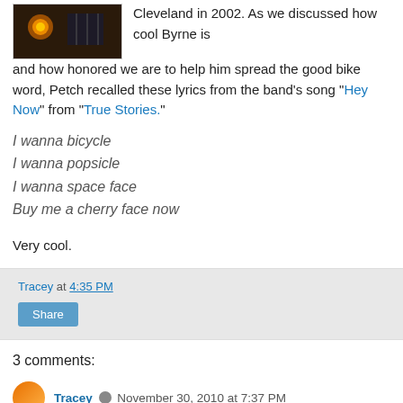[Figure (photo): A dark photo showing what appears to be a concert or bar scene with warm lighting and orange/yellow hues]
Cleveland in 2002. As we discussed how cool Byrne is and how honored we are to help him spread the good bike word, Petch recalled these lyrics from the band's song "Hey Now" from "True Stories."
I wanna bicycle
I wanna popsicle
I wanna space face
Buy me a cherry face now
Very cool.
Tracey at 4:35 PM
Share
3 comments:
Tracey   November 30, 2010 at 7:37 PM